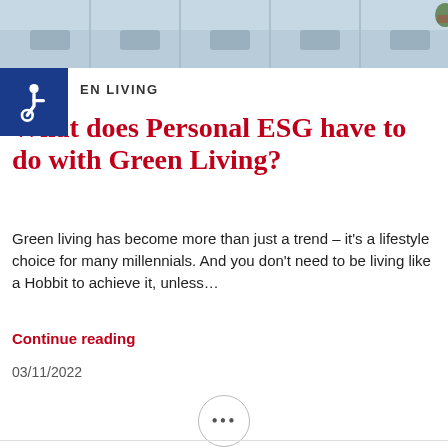[Figure (photo): Top banner image showing an interior space with chairs and glass panels, muted blue-grey tones]
GREEN LIVING
What does Personal ESG have to do with Green Living?
Green living has become more than just a trend – it's a lifestyle choice for many millennials. And you don't need to be living like a Hobbit to achieve it, unless…
Continue reading
03/11/2022
LinkedIn
Facebook